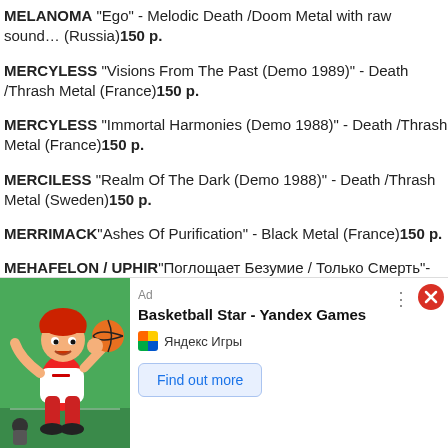MELANOMA "Ego" - Melodic Death /Doom Metal with raw sound… (Russia) 150 р.
MERCYLESS "Visions From The Past (Demo 1989)" - Death /Thrash Metal (France) 150 р.
MERCYLESS "Immortal Harmonies (Demo 1988)" - Death /Thrash Metal (France) 150 р.
MERCILESS "Realm Of The Dark (Demo 1988)" - Death /Thrash Metal (Sweden) 150 р.
MERRIMACK "Ashes Of Purification" - Black Metal (France) 150 р.
MEHAFELON / UPHIR "Поглощает Безумие / Только Смерть"- Aggressive Evil Black Metal (Russia) 150 р.
MEHAFELON "Падение В Бездну" - Raw Black Metal...
[Figure (screenshot): Advertisement overlay: Basketball Star - Yandex Games ad with cartoon basketball player image, Ad label, three-dot menu, close button (red X), Яндекс Игры source, and 'Find out more' button]